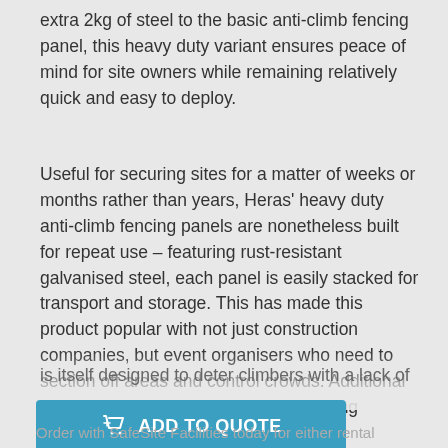extra 2kg of steel to the basic anti-climb fencing panel, this heavy duty variant ensures peace of mind for site owners while remaining relatively quick and easy to deploy.
Useful for securing sites for a matter of weeks or months rather than years, Heras' heavy duty anti-climb fencing panels are nonetheless built for repeat use – featuring rust-resistant galvanised steel, each panel is easily stacked for transport and storage. This has made this product popular with not just construction companies, but event organisers who need to section off areas and control crowds. Additional technology includes Smartweld, ensuring strength in the light mesh that is itself designed to deter climbers with a lack of footholds.
Order with SafeSite Facilities today for either rental